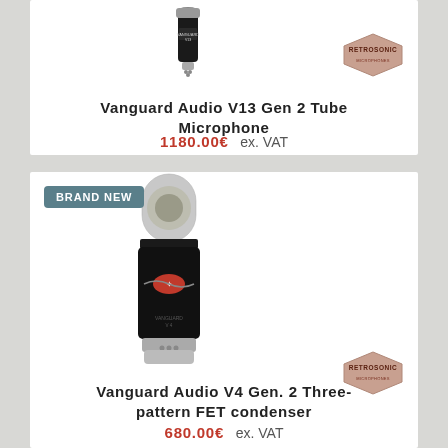[Figure (photo): Vanguard Audio V13 Gen 2 Tube Microphone product photo with Retrosonic logo badge, shown on white background card]
Vanguard Audio V13 Gen 2 Tube Microphone
1180.00€  ex. VAT
[Figure (photo): Vanguard Audio V4 Gen. 2 Three-pattern FET condenser microphone product photo with BRAND NEW badge and Retrosonic logo, shown on white background card]
Vanguard Audio V4 Gen. 2 Three-pattern FET condenser
680.00€  ex. VAT